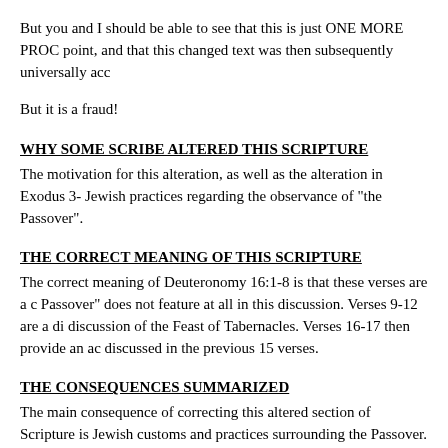But you and I should be able to see that this is just ONE MORE PROC point, and that this changed text was then subsequently universally acc
But it is a fraud!
WHY SOME SCRIBE ALTERED THIS SCRIPTURE
The motivation for this alteration, as well as the alteration in Exodus 3- Jewish practices regarding the observance of "the Passover".
THE CORRECT MEANING OF THIS SCRIPTURE
The correct meaning of Deuteronomy 16:1-8 is that these verses are a c Passover" does not feature at all in this discussion. Verses 9-12 are a di discussion of the Feast of Tabernacles. Verses 16-17 then provide an ac discussed in the previous 15 verses.
THE CONSEQUENCES SUMMARIZED
The main consequence of correcting this altered section of Scripture is Jewish customs and practices surrounding the Passover.
Since the Passover was instituted by God in Exodus chapter 12, and af article on Exodus 34:25), it should be logical that anyone claiming to k be able to support his practices by appealing to these two chapters (i.e. to other Scriptures. Specifically, the timing of the Passover observance